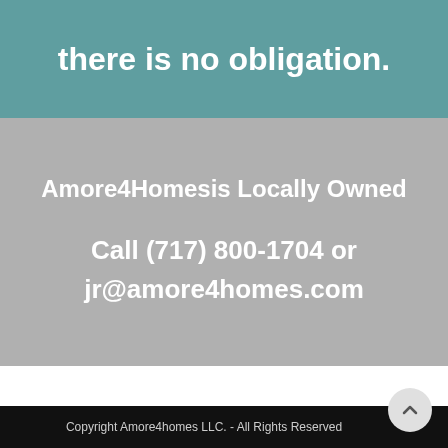there is no obligation.
Amore4Homesis Locally Owned
Call (717) 800-1704 or jr@amore4homes.com
Copyright Amore4homes LLC. - All Rights Reserved